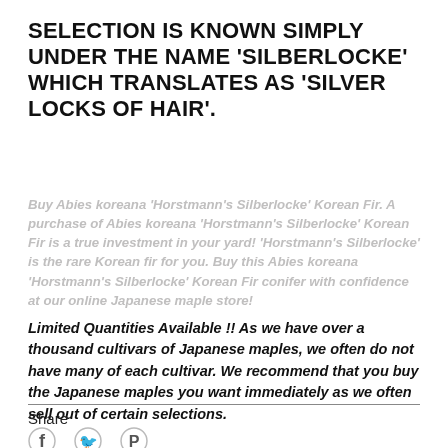SELECTION IS KNOWN SIMPLY UNDER THE NAME 'SILBERLOCKE' WHICH TRANSLATES AS 'SILVER LOCKS OF HAIR'.
Buy Abies koreana 'Horstmann's Silberlocke' Korean Fir. A purchase of Abies koreana 'Horstmann's Silberlocke' Korean Fir is a true investment in your yard! 'Horstmann's Silberlocke' is the rare Korean fir for you. Buy this Abies koreana 'Horstmann's Silberlocke' Korean Fir conifer with confidence at our online Japanese maple store!
Limited Quantities Available !! As we have over a thousand cultivars of Japanese maples, we often do not have many of each cultivar. We recommend that you buy the Japanese maples you want immediately as we often sell out of certain selections.
Share